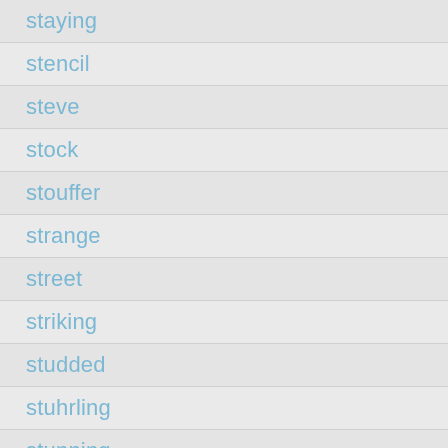staying
stencil
steve
stock
stouffer
strange
street
striking
studded
stuhrling
stunning
sunburst
sunshine